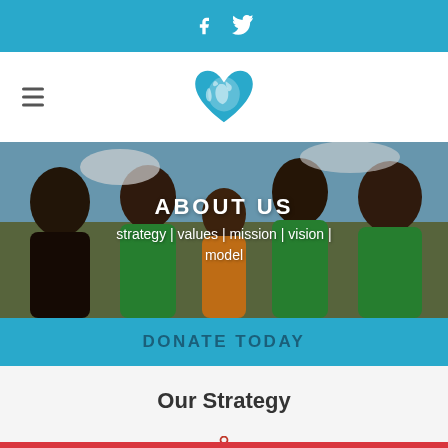f  🐦 (Facebook and Twitter social media icons)
[Figure (logo): Heart-shaped world map logo in teal/blue color]
[Figure (photo): Group of African children smiling and giving thumbs up, wearing green shirts]
ABOUT US
strategy | values | mission | vision | model
DONATE TODAY
Our Strategy